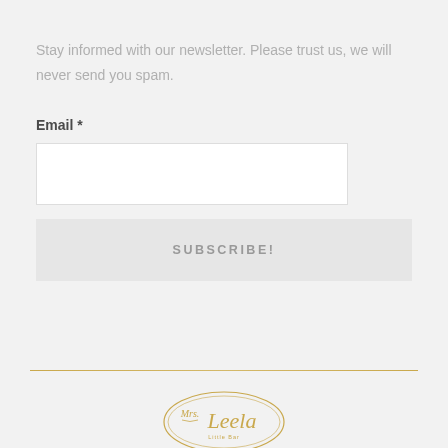Stay informed with our newsletter. Please trust us, we will never send you spam.
Email *
[Figure (screenshot): White input box for email field]
SUBSCRIBE!
[Figure (logo): Mrs. Leela logo - oval gold outline with script text]